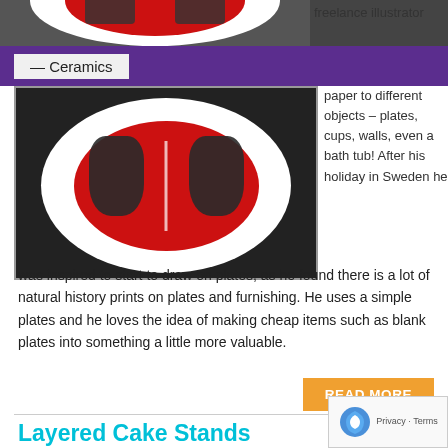[Figure (photo): Cropped photo of a ceramic plate with animal illustration on dark background]
freelance illustrator
— Ceramics
paper to different objects – plates, cups, walls, even a bath tub! After his holiday in Sweden he was inspired to start to draw on plates, as he found there is a lot of natural history prints on plates and furnishing. He uses a simple plates and he loves the idea of making cheap items such as blank plates into something a little more valuable.
READ MORE
Layered Cake Stands
September 3, 2012 : Ceramics, Crafts : No comments
[Figure (photo): Layered cake stand with green decorations on a cup]
Layered ca... is so effect... really very simple to